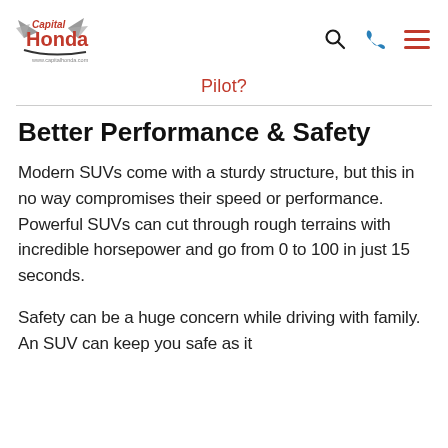Capital Honda logo with navigation icons (search, phone, menu)
Pilot?
Better Performance & Safety
Modern SUVs come with a sturdy structure, but this in no way compromises their speed or performance. Powerful SUVs can cut through rough terrains with incredible horsepower and go from 0 to 100 in just 15 seconds.
Safety can be a huge concern while driving with family. An SUV can keep you safe as it